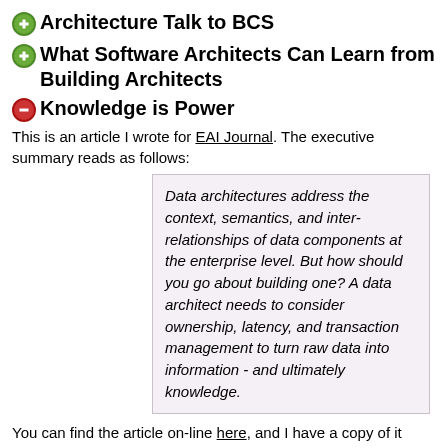Architecture Talk to BCS
What Software Architects Can Learn from Building Architects
Knowledge is Power
This is an article I wrote for EAI Journal. The executive summary reads as follows:
Data architectures address the context, semantics, and inter-relationships of data components at the enterprise level. But how should you go about building one? A data architect needs to consider ownership, latency, and transaction management to turn raw data into information - and ultimately knowledge.
You can find the article on-line here, and I have a copy of it here.
Configuring Multi-Boot Personal Computers